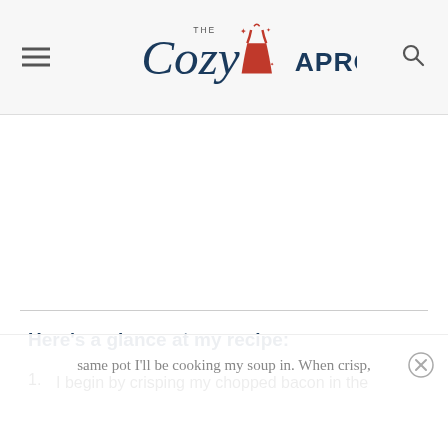The Cozy Apron
Here's a glance at my recipe:
1. I begin by crisping my chopped bacon in the same pot I'll be cooking my soup in. When crisp,